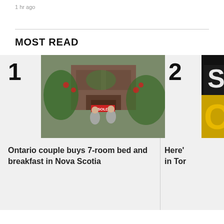1 hr ago
MOST READ
[Figure (photo): A couple standing in front of a large house holding a SOLD sign, surrounded by lush garden with red roses and green trees.]
Ontario couple buys 7-room bed and breakfast in Nova Scotia
[Figure (photo): Partial view of a real estate sign with yellow and black coloring, partially cropped.]
Here' in Tor